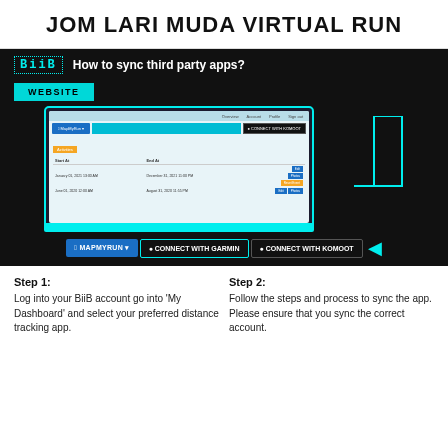JOM LARI MUDA VIRTUAL RUN
[Figure (screenshot): BiiB app screenshot showing 'How to sync third party apps?' with WEBSITE label, a laptop displaying the BiiB dashboard with run tracking history, and connection buttons for MapMyRun, Garmin, and Strava/Komoot at the bottom, with a cyan arrow pointing to the buttons.]
Step 1: Log into your BiiB account go into 'My Dashboard' and select your preferred distance tracking app.
Step 2: Follow the steps and process to sync the app. Please ensure that you sync the correct account.